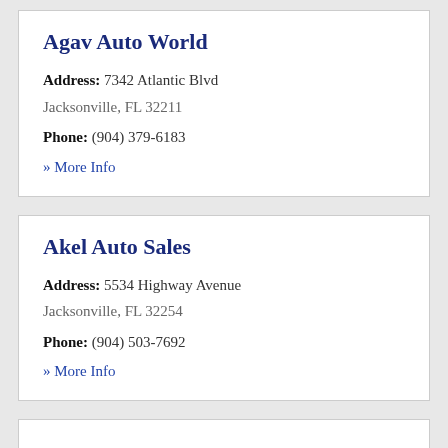Agav Auto World
Address: 7342 Atlantic Blvd
Jacksonville, FL 32211
Phone: (904) 379-6183
» More Info
Akel Auto Sales
Address: 5534 Highway Avenue
Jacksonville, FL 32254
Phone: (904) 503-7692
» More Info